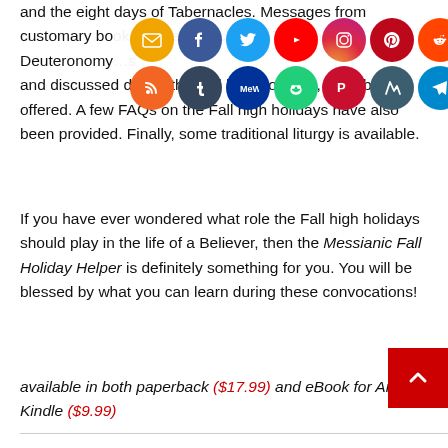and the eight days of Tabernacles. Messages from customary books of the Tanach (Old Testament) like Deuteronomy… and discussed during the Fall high holidays, have been offered. A few FAQs on the Fall high holidays have also been provided. Finally, some traditional liturgy is available.
[Figure (infographic): Two rows of social media sharing icons: Email, Facebook, Twitter, YouTube, Instagram, Pinterest, Reddit, Spotify (top row); RSS, Tumblr, MeWe, unknown, Parler, unknown, Telegram, Odysee (bottom row)]
If you have ever wondered what role the Fall high holidays should play in the life of a Believer, then the Messianic Fall Holiday Helper is definitely something for you. You will be blessed by what you can learn during these convocations!
available in both paperback ($17.99) and eBook for Amazon Kindle ($9.99)